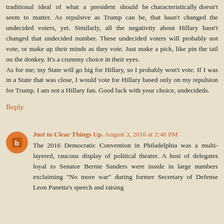traditional ideal of what a president should be characteristically doesn't seem to matter. As repulsive as Trump can be, that hasn't changed the undecided voters, yet. Similarly, all the negativity about Hillary hasn't changed that undecided number. These undecided voters will probably not vote, or make up their minds as they vote. Just make a pick, like pin the tail on the donkey. It's a crummy choice in their eyes.
As for me; my State will go big for Hillary, so I probably won't vote. If I was in a State that was close, I would vote for Hillary based only on my repulsion for Trump. I am not a Hillary fan. Good luck with your choice, undecideds.
Reply
Just to Clear Things Up. August 3, 2016 at 2:48 PM
The 2016 Democratic Convention in Philadelphia was a multi-layered, raucous display of political theater. A host of delegates loyal to Senator Bernie Sanders were inside in large numbers exclaiming "No more war" during former Secretary of Defense Leon Panetta's speech and raising